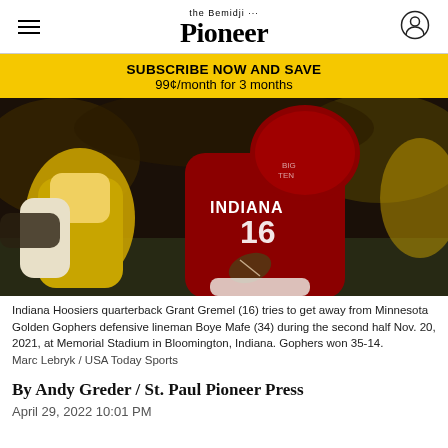Bemidji Pioneer
SUBSCRIBE NOW AND SAVE
99¢/month for 3 months
[Figure (photo): Indiana Hoosiers quarterback Grant Gremel (16) running with the football while Minnesota Golden Gophers defensive lineman Boye Mafe (34) attempts to tackle him during a night game.]
Indiana Hoosiers quarterback Grant Gremel (16) tries to get away from Minnesota Golden Gophers defensive lineman Boye Mafe (34) during the second half Nov. 20, 2021, at Memorial Stadium in Bloomington, Indiana. Gophers won 35-14.
Marc Lebryk / USA Today Sports
By Andy Greder / St. Paul Pioneer Press
April 29, 2022 10:01 PM